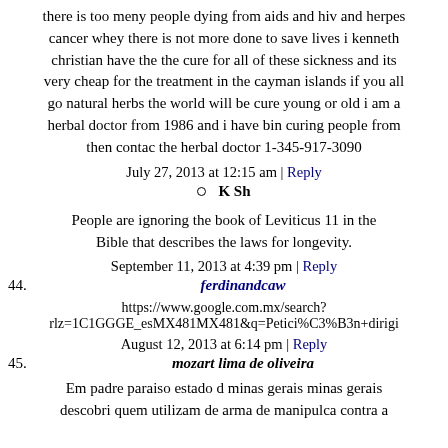there is too meny people dying from aids and hiv and herpes cancer whey there is not more done to save lives i kenneth christian have the the cure for all of these sickness and its very cheap for the treatment in the cayman islands if you all go natural herbs the world will be cure young or old i am a herbal doctor from 1986 and i have bin curing people from then contac the herbal doctor 1-345-917-3090
July 27, 2013 at 12:15 am | Reply
K Sh
People are ignoring the book of Leviticus 11 in the Bible that describes the laws for longevity.
September 11, 2013 at 4:39 pm | Reply
44. ferdinandcaw
https://www.google.com.mx/search?rlz=1C1GGGE_esMX481MX481&q=Petici%C3%B3n+dirigi
August 12, 2013 at 6:14 pm | Reply
45. mozart lima de oliveira
Em padre paraiso estado d minas gerais minas gerais descobri quem utilizam de arma de manipulca contra a